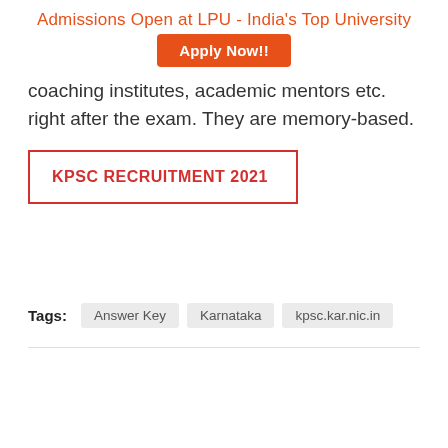Admissions Open at LPU - India's Top University
[Figure (other): Apply Now!! orange button]
coaching institutes, academic mentors etc. right after the exam. They are memory-based.
KPSC RECRUITMENT 2021
Tags: Answer Key  Karnataka  kpsc.kar.nic.in